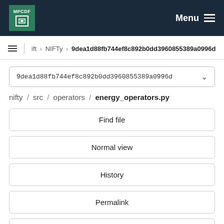MPCDF — Menu
ift › NIFTy › 9dea1d88fb744ef8c892b0dd3960855389a0996d
9dea1d88fb744ef8c892b0dd3960855389a0996d
nifty / src / operators / energy_operators.py
Find file
Normal view
History
Permalink
energy_operators.py  17.8 KB
Newer  Older